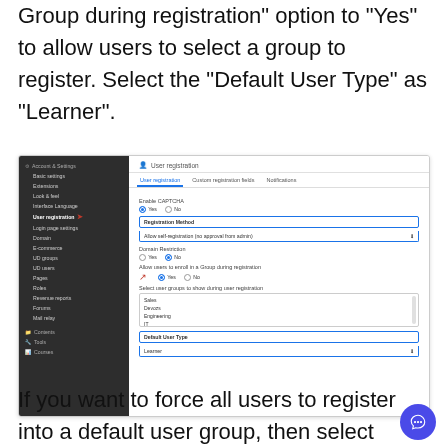Group during registration" option to "Yes" to allow users to select a group to register. Select the "Default User Type" as "Learner".
[Figure (screenshot): Screenshot of Account & Settings > User registration panel showing options: Enable CAPTCHA (Yes selected), Registration Method dropdown (Allow self-registration no approval from admin), Domain Restriction (No selected), Allow users to enroll in a Group during registration (Yes selected, with red arrow), Select user groups to show during user registration listbox (Sales, Devozs, Engineering, IT), Default User Type select box (Learner).]
If you want to force all users to register into a default user group, then select